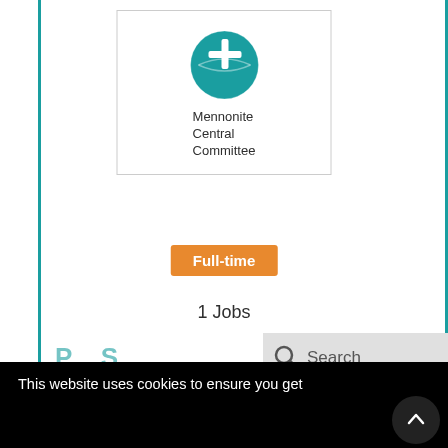[Figure (logo): Mennonite Central Committee logo with teal globe icon and organization name]
Full-time
1 Jobs
[Figure (screenshot): Search bar overlay on top right with magnifying glass icon and 'Search' text]
This website uses cookies to ensure you get the best experience on our website.
More info
Got it!
Duty Station: Uganda